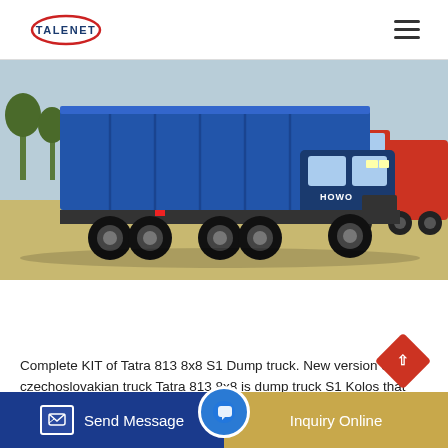TALENET
[Figure (photo): A blue HOWO dump truck (8x8) parked on a dirt area, with a red truck partially visible in the background. The dump bed is raised/ribbed blue, and the truck has multiple axles.]
Complete KIT of Tatra 813 8x8 S1 Dump truck. New version of czechoslovakian truck Tatra 813 8x8 is dump truck S1 Kolos that has additional wheelbase between second and third axle.